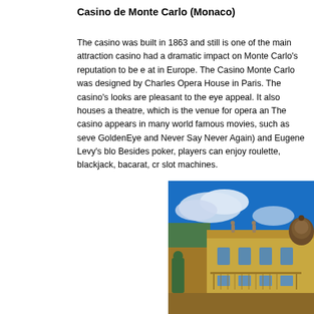Casino de Monte Carlo (Monaco)
The casino was built in 1863 and still is one of the main attractions. The casino had a dramatic impact on Monte Carlo's reputation to be counted at in Europe. The Casino Monte Carlo was designed by Charles ... Opera House in Paris. The casino's looks are pleasant to the eye appeal. It also houses a theatre, which is the venue for opera and... The casino appears in many world famous movies, such as seve... GoldenEye and Never Say Never Again) and Eugene Levy's blo... Besides poker, players can enjoy roulette, blackjack, bacarat, cr... slot machines.
[Figure (photo): Exterior photograph of Casino de Monte Carlo building showing ornate Beaux-Arts architecture with a golden/yellow facade, decorated roofline with statues, domed tower on the right, green copper roof details, and a bright blue sky with white clouds in the background.]